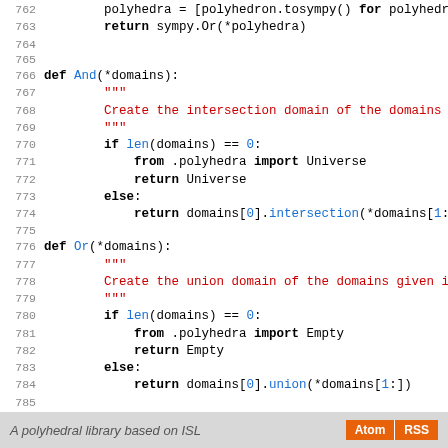[Figure (screenshot): Python source code viewer showing lines 762-790 with syntax highlighting. Keywords in bold black, function names in blue, strings/docstrings in red, numbers in blue. Line numbers in gray on left margin.]
A polyhedral library based on ISL   Atom  RSS